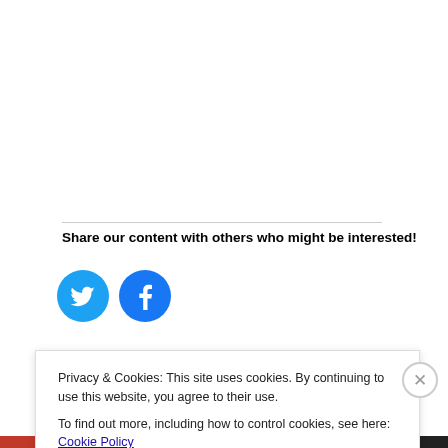Share our content with others who might be interested!
[Figure (illustration): Twitter and Facebook social share icons (blue circles with white bird and 'f' logos)]
Loading...
Tagged bblog, bblogger, beauty, blog, Blogging,
Privacy & Cookies: This site uses cookies. By continuing to use this website, you agree to their use.
To find out more, including how to control cookies, see here: Cookie Policy
Close and accept